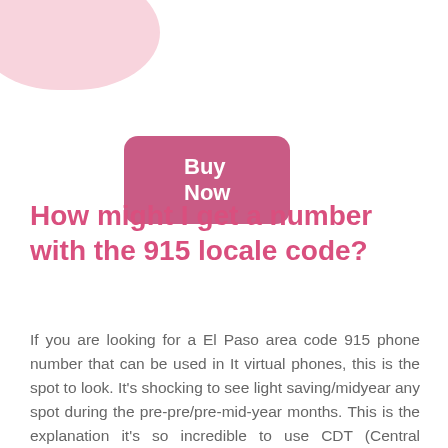[Figure (illustration): Pink blob shape in top-left corner]
Buy Now
How might I get a number with the 915 locale code?
If you are looking for a El Paso area code 915 phone number that can be used in It virtual phones, this is the spot to look. It's shocking to see light saving/midyear any spot during the pre-pre/pre-mid-year months. This is the explanation it's so incredible to use CDT (Central Daylight Time) in summer. The going with start is similarly open and requires no stuff. For versatile updates and various parts that can help you with empowering your business, call us at 773-773